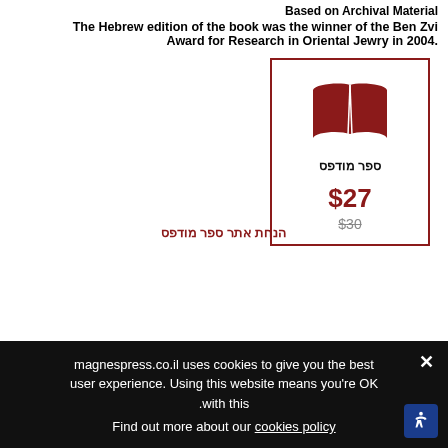Based on Archival Material
The Hebrew edition of the book was the winner of the Ben Zvi Award for Research in Oriental Jewry in 2004.
[Figure (logo): Book badge with open book icon in dark red, Hebrew text 'ספר מודפס', price $27 in dark red, original price $30 struck through, bordered box]
הנחת אתר ספר מודפס
magnespress.co.il uses cookies to give you the best user experience. Using this website means you're OK with this. Find out more about our cookies policy